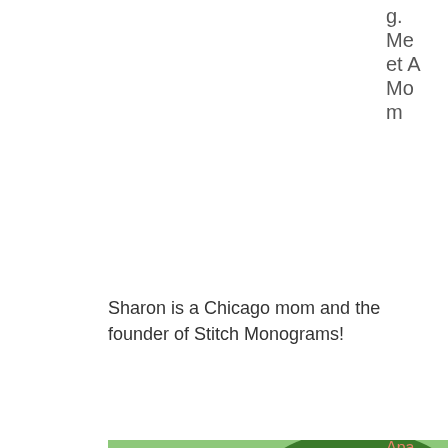g. Meet A Mom
Sharon is a Chicago mom and the founder of Stitch Monograms!
[Figure (photo): Three young girls wearing Apachi Day Camp t-shirts and colorful face masks, raising their arms together outdoors at a park with green grass and trees in the background.]
Apachi Day Camp's Top Priority is Camper S...